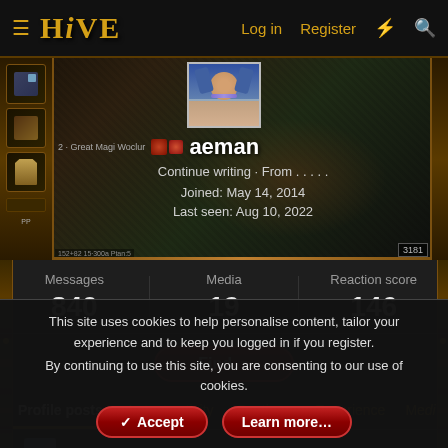HIVE — Log in | Register
[Figure (screenshot): Gaming profile banner with dark fantasy background, showing avatar of anime character with blue hair, rank badge icons, username 'aeman', tagline 'Continue writing · From . . . . .', joined date May 14 2014, last seen Aug 10 2022]
Messages
840
Media
19
Reaction score
146
Find ▼
Profile posts | Latest activity | Postings | Experience | Medi
aeman · May 1, 2022
This site uses cookies to help personalise content, tailor your experience and to keep you logged in if you register.
By continuing to use this site, you are consenting to our use of cookies.
✓ Accept | Learn more...